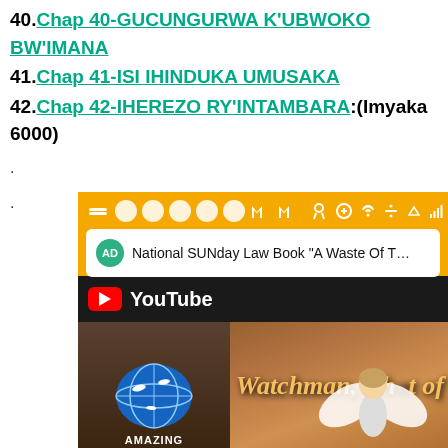40. Chap 40-GUCUNGURWA K'UBWOKO BW'IMANA
41. Chap 41-ISI IHINDUKA UMUSAKA
42. Chap 42-IHEREZO RY'INTAMBARA:(Imyaka 6000)
[Figure (screenshot): Screenshot of a mobile device showing a YouTube video notification for 'National SUNday Law Book A Waste Of T...' and a YouTube video thumbnail with text 'Watchman, what of' and an angel image with Amazing Discoveries logo]